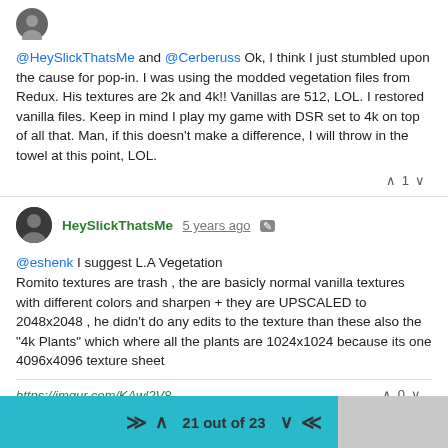@HeySlickThatsMe and @Cerberuss Ok, I think I just stumbled upon the cause for pop-in. I was using the modded vegetation files from Redux. His textures are 2k and 4k!! Vanillas are 512, LOL. I restored vanilla files. Keep in mind I play my game with DSR set to 4k on top of all that. Man, if this doesn't make a difference, I will throw in the towel at this point, LOL.
^ 1 v
HeySlickThatsMe 5 years ago [edit icon]
@eshenk I suggest L.A Vegetation
Romito textures are trash , the are basicly normal vanilla textures with different colors and sharpen + they are UPSCALED to 2048x2048 , he didn't do any edits to the texture than these also the "4k Plants" which where all the plants are 1024x1024 because its one 4096x4096 texture sheet
https://imgur.com/KAwl2V8
^ 0 v
21 out of 23